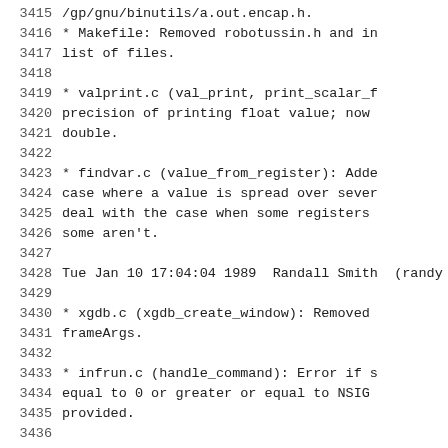3415   /gp/gnu/binutils/a.out.encap.h.
3416   * Makefile: Removed robotussin.h and in
3417   list of files.
3418
3419   * valprint.c (val_print, print_scalar_f
3420   precision of printing float value; now
3421   double.
3422
3423   * findvar.c (value_from_register): Adde
3424   case where a value is spread over sever
3425   deal with the case when some registers
3426   some aren't.
3427
3428   Tue Jan 10 17:04:04 1989  Randall Smith  (randy
3429
3430   * xgdb.c (xgdb_create_window): Removed
3431   frameArgs.
3432
3433   * infrun.c (handle_command): Error if s
3434   equal to 0 or greater or equal to NSIG
3435   provided.
3436